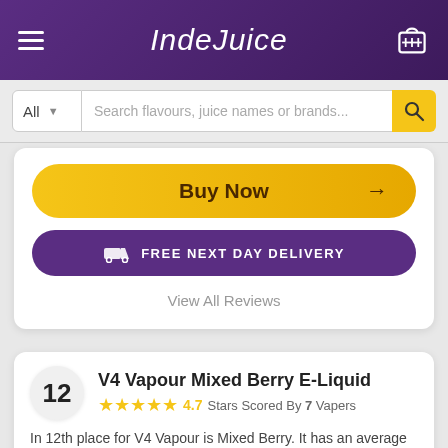IndeJuice
Search flavours, juice names or brands...
Buy Now →
FREE NEXT DAY DELIVERY
View All Reviews
V4 Vapour Mixed Berry E-Liquid
4.7 Stars Scored By 7 Vapers
In 12th place for V4 Vapour is Mixed Berry. It has an average